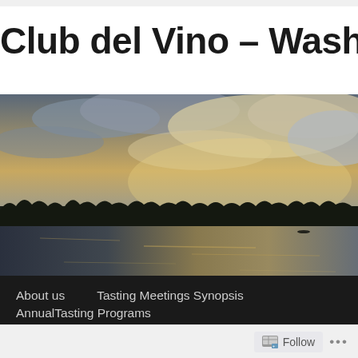Club del Vino – Washington DC
[Figure (photo): Sunset landscape with a calm lake reflecting golden and blue cloudy sky, with silhouetted treeline in the background]
About us
Tasting Meetings Synopsis
AnnualTasting Programs
Talks about wine
Follow ...